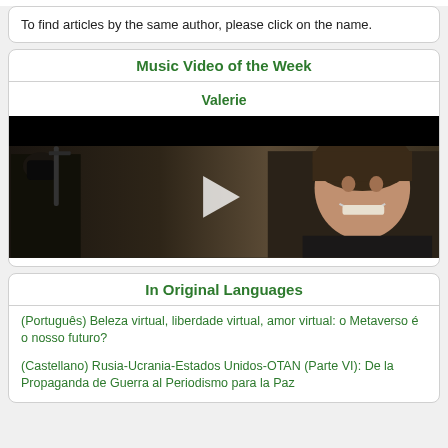To find articles by the same author, please click on the name.
Music Video of the Week
Valerie
[Figure (screenshot): Video player thumbnail showing a dark scene with a person smiling on the right and a masked figure with a weapon on the left. A white play button triangle is visible in the center.]
In Original Languages
(Português) Beleza virtual, liberdade virtual, amor virtual: o Metaverso é o nosso futuro?
(Castellano) Rusia-Ucrania-Estados Unidos-OTAN (Parte VI): De la Propaganda de Guerra al Periodismo para la Paz